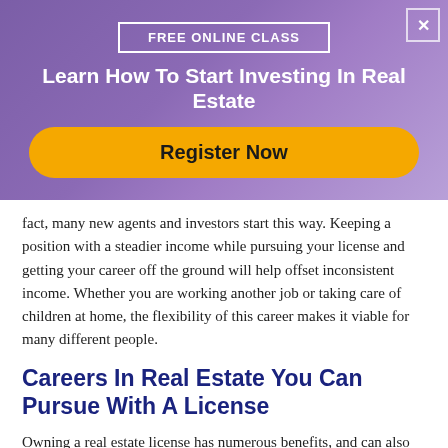[Figure (infographic): Promotional banner with purple/violet gradient background. Contains 'FREE ONLINE CLASS' button outline, heading 'Learn How To Start Investing In Real Estate', and a yellow 'Register Now' button. A close (X) button is in the top-right corner.]
fact, many new agents and investors start this way. Keeping a position with a steadier income while pursuing your license and getting your career off the ground will help offset inconsistent income. Whether you are working another job or taking care of children at home, the flexibility of this career makes it viable for many different people.
Careers In Real Estate You Can Pursue With A License
Owning a real estate license has numerous benefits, and can also open doors professionally. Besides becoming a real estate agent, here are careers in real estate associated with pursuing your license: